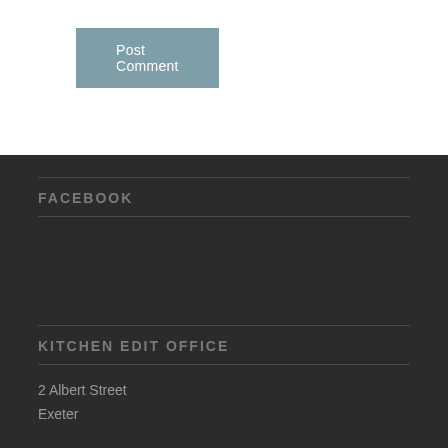Post Comment
FACEBOOK
KITCHEN EDIT OFFICE
2 Albert Street
Exeter